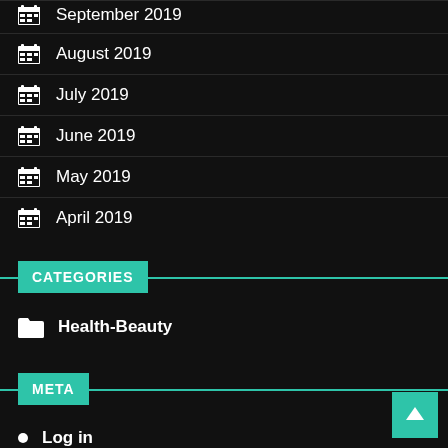September 2019
August 2019
July 2019
June 2019
May 2019
April 2019
CATEGORIES
Health-Beauty
META
Log in